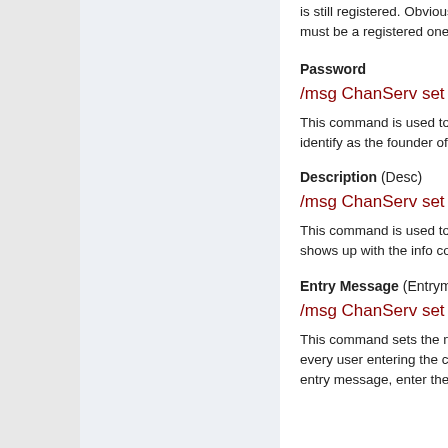is still registered. Obviously, the must be a registered one.
Password
/msg ChanServ set #channel
This command is used to change identify as the founder of the ch
Description (Desc)
/msg ChanServ set #channel
This command is used to chang shows up with the info comman
Entry Message (Entrymsg)
/msg ChanServ set #channel
This command sets the messag every user entering the channel entry message, enter the comm